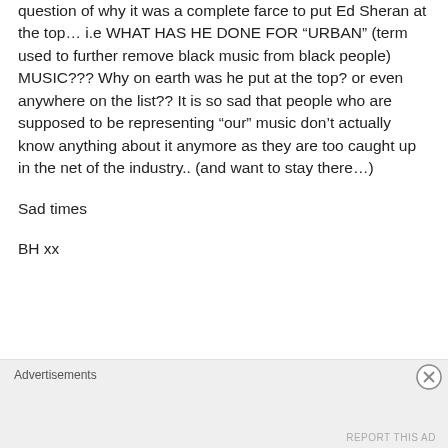question of why it was a complete farce to put Ed Sheran at the top… i.e WHAT HAS HE DONE FOR “URBAN” (term used to further remove black music from black people) MUSIC??? Why on earth was he put at the top? or even anywhere on the list?? It is so sad that people who are supposed to be representing “our” music don’t actually know anything about it anymore as they are too caught up in the net of the industry.. (and want to stay there…)
Sad times
BH xx
Advertisements